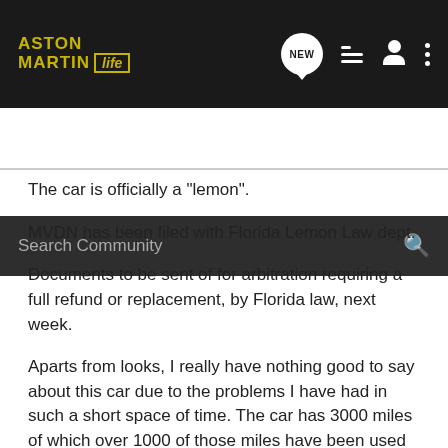ASTON MARTIN life — community forum header with navigation icons (NEW, list, user, more)
Search Community
The car is officially a "lemon".
MVDN has been filed with Florida Lemon Law dept.
Documents to be sent of for arbitration requiring a full refund or replacement, by Florida law, next week.
Aparts from looks, I really have nothing good to say about this car due to the problems I have had in such a short space of time. The car has 3000 miles of which over 1000 of those miles have been used driving the car back and fourth to the AM dealer in Miami.
A senior tech has looked at the car and his final comment was